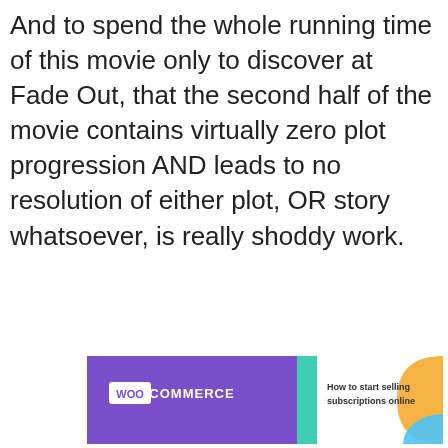And to spend the whole running time of this movie only to discover at Fade Out, that the second half of the movie contains virtually zero plot progression AND leads to no resolution of either plot, OR story whatsoever, is really shoddy work.
[Figure (other): WooCommerce advertisement banner: purple left section with WooCommerce logo, teal triangle divider, white right section with text 'How to start selling subscriptions online', orange arc in top right corner.]
Privacy & Cookies: This site uses cookies. By continuing to use this website, you agree to their use.
To find out more, including how to control cookies, see here: Cookie Policy
Close and accept